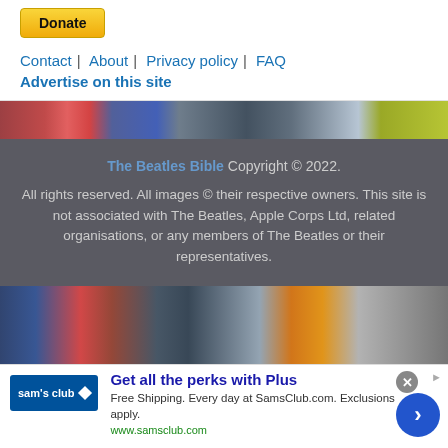[Figure (other): PayPal Donate button (yellow/gold rounded rectangle)]
Contact | About | Privacy policy | FAQ
Advertise on this site
[Figure (photo): Horizontal strip of Beatles-related magazine/album cover images]
The Beatles Bible Copyright © 2022. All rights reserved. All images © their respective owners. This site is not associated with The Beatles, Apple Corps Ltd, related organisations, or any members of The Beatles or their representatives.
[Figure (photo): Horizontal strip of Beatles album/magazine cover images]
[Figure (screenshot): Sam's Club advertisement banner: Get all the perks with Plus. Free Shipping. Every day at SamsClub.com. Exclusions apply. www.samsclub.com]